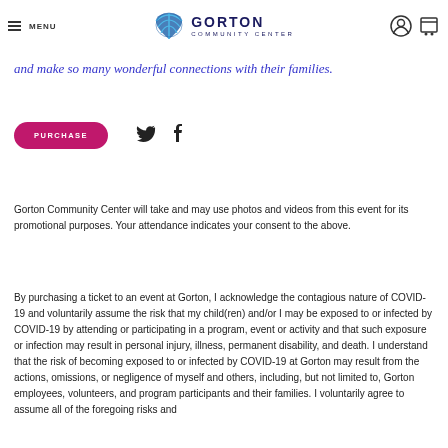MENU | GORTON COMMUNITY CENTER
and make so many wonderful connections with their families.
PURCHASE
Gorton Community Center will take and may use photos and videos from this event for its promotional purposes. Your attendance indicates your consent to the above.
By purchasing a ticket to an event at Gorton, I acknowledge the contagious nature of COVID-19 and voluntarily assume the risk that my child(ren) and/or I may be exposed to or infected by COVID-19 by attending or participating in a program, event or activity and that such exposure or infection may result in personal injury, illness, permanent disability, and death. I understand that the risk of becoming exposed to or infected by COVID-19 at Gorton may result from the actions, omissions, or negligence of myself and others, including, but not limited to, Gorton employees, volunteers, and program participants and their families. I voluntarily agree to assume all of the foregoing risks and